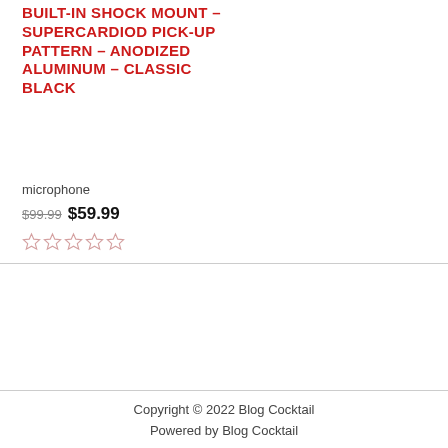BUILT-IN SHOCK MOUNT – SUPERCARDIOD PICK-UP PATTERN – ANODIZED ALUMINUM – CLASSIC BLACK
microphone
$99.99  $59.99
[Figure (other): Five empty star rating icons in a row (0 out of 5 stars)]
Copyright © 2022 Blog Cocktail
Powered by Blog Cocktail